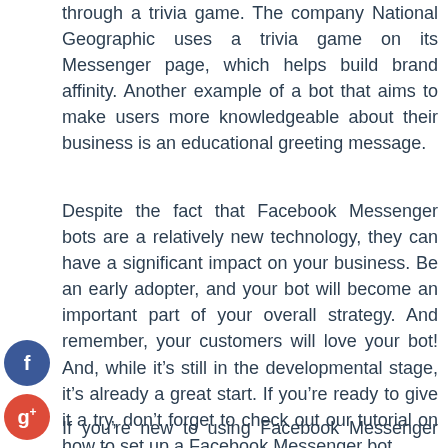through a trivia game. The company National Geographic uses a trivia game on its Messenger page, which helps build brand affinity. Another example of a bot that aims to make users more knowledgeable about their business is an educational greeting message.
Despite the fact that Facebook Messenger bots are a relatively new technology, they can have a significant impact on your business. Be an early adopter, and your bot will become an important part of your overall strategy. And remember, your customers will love your bot! And, while it's still in the developmental stage, it's already a great start. If you're ready to give it a try, don't forget to check out our tutorial on how to set up a Facebook Messenger bot.
If you're new to using Facebook Messenger bots for